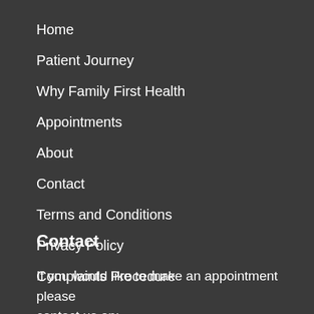Home
Patient Journey
Why Family First Health
Appointments
About
Contact
Terms and Conditions
Privacy Policy
Complaints Procedure
Contact
If you would like to make an appointment please contact us on: